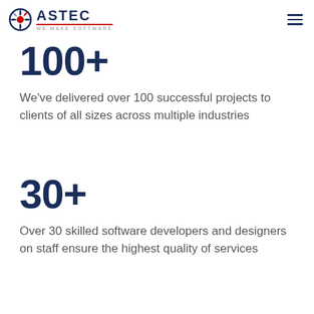ASTEC WE MAKE SOFTWARE
100+
We've delivered over 100 successful projects to clients of all sizes across multiple industries
30+
Over 30 skilled software developers and designers on staff ensure the highest quality of services